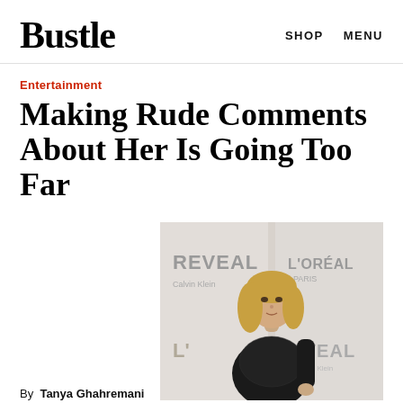Bustle   SHOP   MENU
Entertainment
Making Rude Comments About Her Is Going Too Far
[Figure (photo): A blonde woman in a black lace dress posing at an event with REVEAL and L'OREAL PARIS branded backdrop signage]
By Tanya Ghahremani